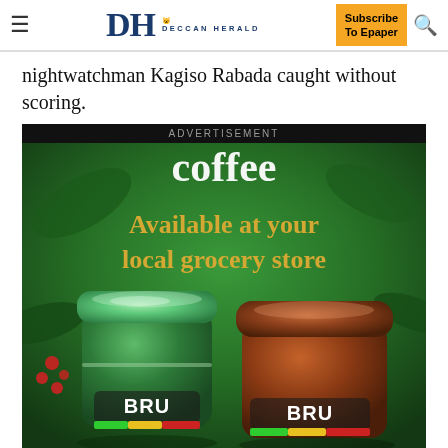DH DECCAN HERALD | Subscribe To Epaper
nightwatchman Kagiso Rabada caught without scoring.
[Figure (photo): BRU coffee advertisement showing two BRU coffee jars (one green, one brown) on a green background with text 'coffee Available at your local grocery store']